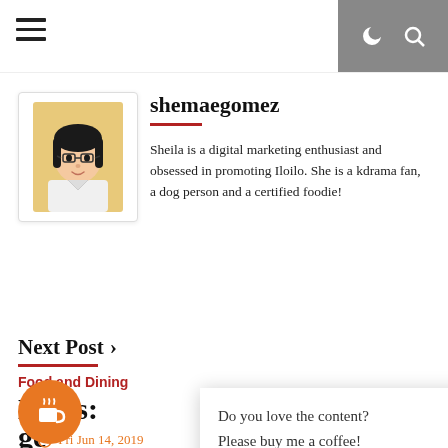Navigation bar with hamburger menu, moon icon, and search icon
shemaegomez
[Figure (illustration): Cartoon avatar of a woman with glasses and dark hair on yellow background]
Sheila is a digital marketing enthusiast and obsessed in promoting Iloilo. She is a kdrama fan, a dog person and a certified foodie!
Next Post ›
Food and Dining
Dac's: ...ocal
Do you love the content? Please buy me a coffee!
Fri Jun 14, 2019